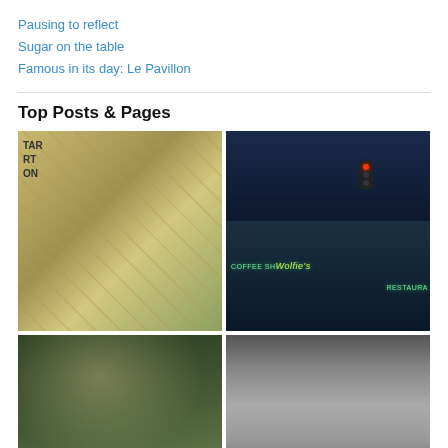Pausing to reflect
Sugar on the table
Famous in its day: Le Pavillon
Top Posts & Pages
[Figure (photo): Aerial illustrated map of a motor court or hotel resort complex, showing buildings, parking lots, and roads from above in a vintage postcard style. Text visible: TAR, RT, ON in upper left.]
[Figure (photo): Night photograph of Wolfie's Coffee Shop and Restaurant with neon signage lit up in green and yellow against a dark blue evening sky, with a red traffic light visible.]
[Figure (photo): Color photo of two people in a restaurant interior with a decorative lamp shade visible overhead, set among tropical foliage.]
[Figure (photo): Black and white photograph of a cafeteria or restaurant serving line with staff and patrons visible.]